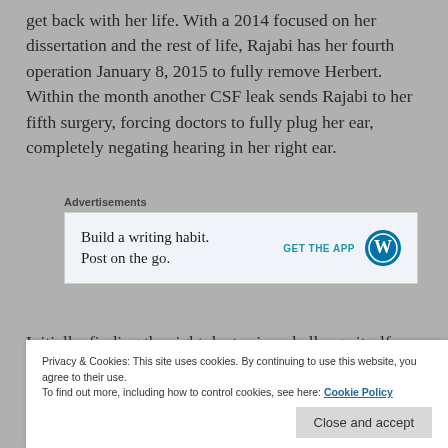get back with her life. With a 2014 focused on her dissertation and the rest of life, Rajabi has her fourth operation January 8, 2015 to fully remove Herbert. Within the month another CSF leak sends Rajabi to her fifth surgery, forcing doctors to fully plug her ear, completely negating hearing in her right ear.
[Figure (other): Advertisement box: 'Build a writing habit. Post on the go.' with GET THE APP button and WordPress logo]
Initially, finding the right doctor is a challenge itself.
Privacy & Cookies: This site uses cookies. By continuing to use this website, you agree to their use. To find out more, including how to control cookies, see here: Cookie Policy
begins to feel uncomfortable around many of the